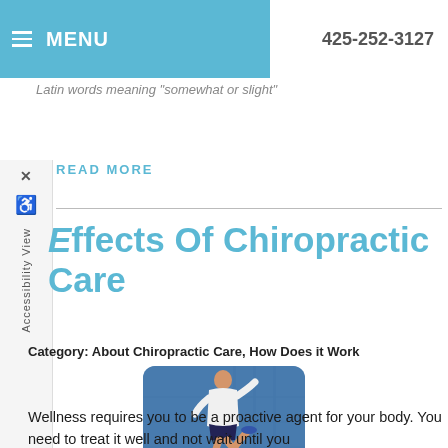≡ MENU   425-252-3127
Latin words meaning 'somewhat or slight'
READ MORE
Effects Of Chiropractic Care
Category: About Chiropractic Care, How Does it Work
[Figure (photo): A man in a white long-sleeve shirt and dark shorts running, photographed against a blue building background]
Wellness requires you to be a proactive agent for your body. You need to treat it well and not wait until you